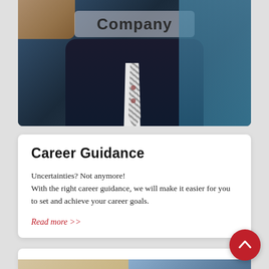[Figure (photo): A businessman in a dark suit and striped tie pointing at floating UI selection boxes labeled 'Company' and 'Job' on a semi-transparent interface overlay]
Career Guidance
Uncertainties? Not anymore!
With the right career guidance, we will make it easier for you to set and achieve your career goals.
Read more >>
[Figure (photo): Partially visible photos at the bottom of the page: left shows a person with light background, right shows a person in an office/professional setting]